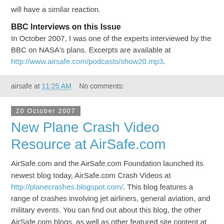will have a similar reaction.
BBC Interviews on this Issue
In October 2007, I was one of the experts interviewed by the BBC on NASA's plans. Excerpts are available at http://www.airsafe.com/podcasts/show20.mp3.
airsafe at 11:25 AM   No comments:
20 October 2007
New Plane Crash Video Resource at AirSafe.com
AirSafe.com and the AirSafe.com Foundation launched its newest blog today, AirSafe.com Crash Videos at http://planecrashes.blogspot.com/. This blog features a range of crashes involving jet airliners, general aviation, and military events. You can find out about this blog, the other AirSafe.com blogs, as well as other featured site content at the AirSafe.com Special Features page.